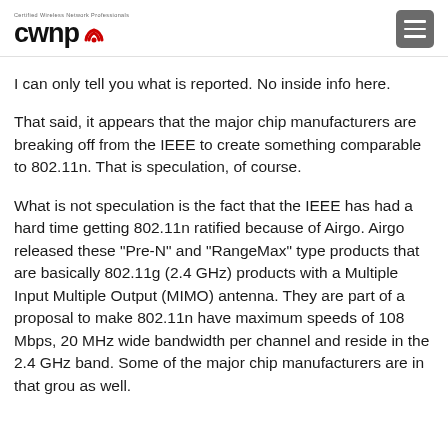CWNP
I can only tell you what is reported. No inside info here.
That said, it appears that the major chip manufacturers are breaking off from the IEEE to create something comparable to 802.11n. That is speculation, of course.
What is not speculation is the fact that the IEEE has had a hard time getting 802.11n ratified because of Airgo. Airgo released these "Pre-N" and "RangeMax" type products that are basically 802.11g (2.4 GHz) products with a Multiple Input Multiple Output (MIMO) antenna. They are part of a proposal to make 802.11n have maximum speeds of 108 Mbps, 20 MHz wide bandwidth per channel and reside in the 2.4 GHz band. Some of the major chip manufacturers are in that group as well.